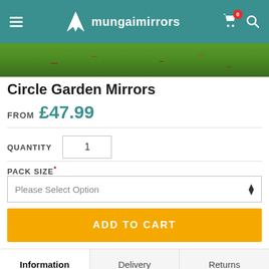mungaimirrors — navigation header with menu, logo, cart (0), and search
[Figure (photo): Cropped photo of garden foliage and red berries/flowers used as product background]
Circle Garden Mirrors
FROM £47.99
QUANTITY 1
PACK SIZE*
Please Select Option
ADD TO CART
Information | Delivery | Returns